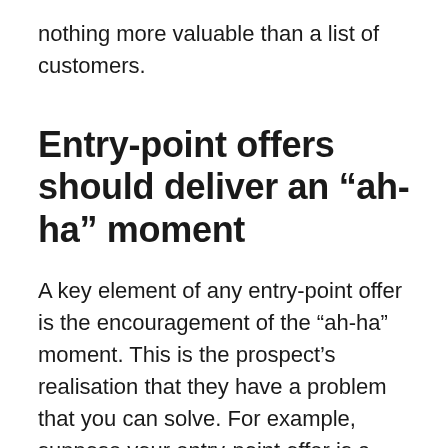nothing more valuable than a list of customers.
Entry-point offers should deliver an “ah-ha” moment
A key element of any entry-point offer is the encouragement of the “ah-ha” moment. This is the prospect’s realisation that they have a problem that you can solve. For example, suppose your entry-point offer is a free guide or a